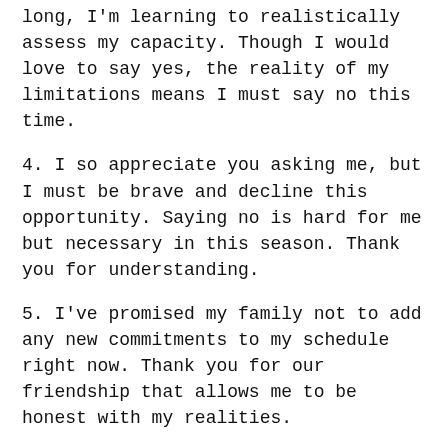3. [cut off] ...living at an unhealthy breakneck pace for too long, I'm learning to realistically assess my capacity. Though I would love to say yes, the reality of my limitations means I must say no this time.
4. I so appreciate you asking me, but I must be brave and decline this opportunity. Saying no is hard for me but necessary in this season. Thank you for understanding.
5. I've promised my family not to add any new commitments to my schedule right now. Thank you for our friendship that allows me to be honest with my realities.
Professional:
6. Thank you for thinking of me. Your project sounds wonderful. However, as much as I would love to be involved, I can't give your project the attention it [cut off]